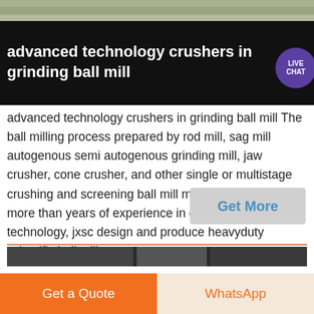[Figure (photo): Top banner showing outdoor industrial/mining scene with tan and green tones]
advanced technology crushers in grinding ball mill
advanced technology crushers in grinding ball mill The ball milling process prepared by rod mill, sag mill autogenous semi autogenous grinding mill, jaw crusher, cone crusher, and other single or multistage crushing and screening ball mill manufacturer with more than years of experience in grinding balls mill technology, jxsc design and produce heavyduty scientific ball mill
[Figure (screenshot): Get More button, light gray background with blue text]
[Figure (photo): Bottom strip showing industrial equipment image, dark tones]